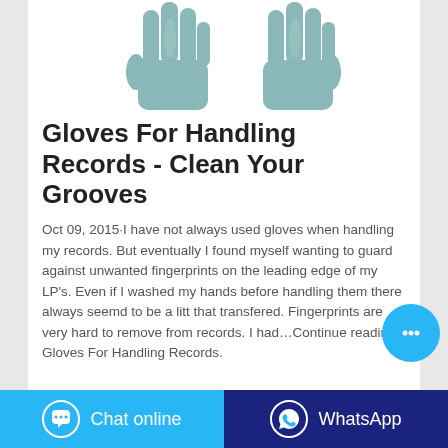[Figure (photo): Two teal/grey nitrile gloves shown from above against white background, fingers pointing upward]
Gloves For Handling Records - Clean Your Grooves
Oct 09, 2015·I have not always used gloves when handling my records. But eventually I found myself wanting to guard against unwanted fingerprints on the leading edge of my LP's. Even if I washed my hands before handling them there always seemd to be a litt that transfered. Fingerprints are very hard to remove from records. I had…Continue reading Gloves For Handling Records.